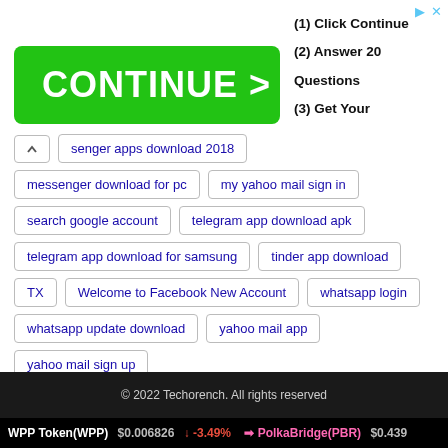[Figure (screenshot): Advertisement banner with green CONTINUE > button and steps text]
senger apps download 2018
messenger download for pc
my yahoo mail sign in
search google account
telegram app download apk
telegram app download for samsung
tinder app download
TX
Welcome to Facebook New Account
whatsapp login
whatsapp update download
yahoo mail app
yahoo mail sign up
© 2022 Techorench. All rights reserved
WPP Token(WPP)  $0.006826  ↓ -3.49%  ➜  PolkaBridge(PBR)  $0.439